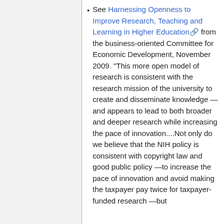See Harnessing Openness to Improve Research, Teaching and Learning in Higher Education from the business-oriented Committee for Economic Development, November 2009. "This more open model of research is consistent with the research mission of the university to create and disseminate knowledge —and appears to lead to both broader and deeper research while increasing the pace of innovation....Not only do we believe that the NIH policy is consistent with copyright law and good public policy —to increase the pace of innovation and avoid making the taxpayer pay twice for taxpayer-funded research —but